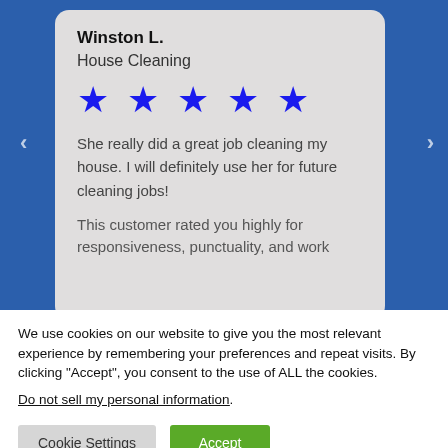Winston L.
House Cleaning
[Figure (other): Five blue star rating icons]
She really did a great job cleaning my house. I will definitely use her for future cleaning jobs!
This customer rated you highly for responsiveness, punctuality, and work
We use cookies on our website to give you the most relevant experience by remembering your preferences and repeat visits. By clicking “Accept”, you consent to the use of ALL the cookies.
Do not sell my personal information.
Cookie Settings
Accept